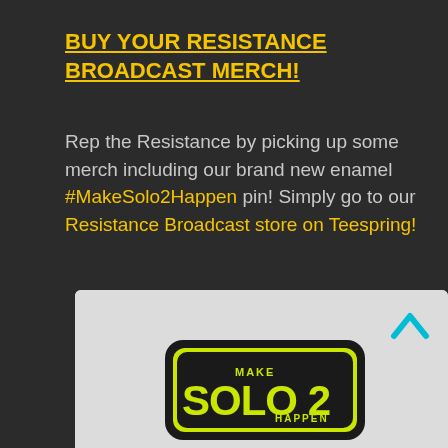BUY YOUR RESISTANCE BROADCAST MERCH!
Rep the Resistance by picking up some merch including our brand new enamel #MakeSolo2Happen pin! Simply go to our Resistance Broadcast store on Teespring!
[Figure (photo): Photo of a black and yellow enamel pin styled like the Star Wars Solo movie logo, reading MAKE SOLO 2 HAPPEN]